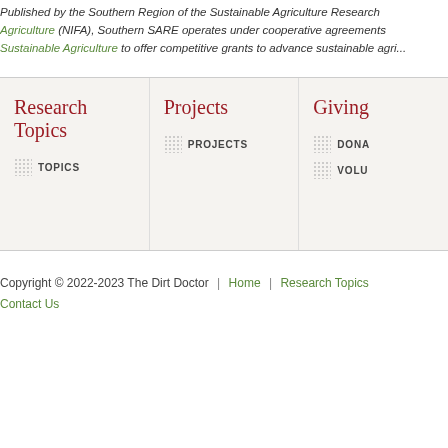Published by the Southern Region of the Sustainable Agriculture Research & Education (SARE) program, funded by the National Institute of Food and Agriculture (NIFA), Southern SARE operates under cooperative agreements with the National Institute of Food and Agriculture (NIFA). Southern SARE uses the National Institute of Food and Agriculture Sustainable Agriculture to offer competitive grants to advance sustainable agriculture.
Research Topics
TOPICS
Projects
PROJECTS
Giving
DONA...
VOLU...
Copyright © 2022-2023 The Dirt Doctor | Home | Research Topics | Contact Us